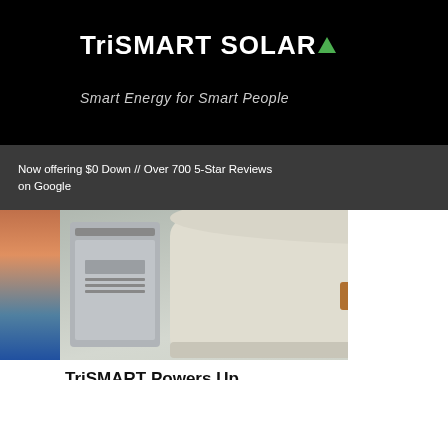[Figure (screenshot): TriSMART Solar website header with black background, white logo text and green triangle, tagline 'Smart Energy for Smart People', and dark gray navigation bar with text 'Now offering $0 Down // Over 700 5-Star Reviews on Google' and hamburger menu icon]
6
See All
[Figure (photo): Generac whole-home generator product image showing a beige/cream colored Generac standby generator unit with black ventilation slots, and a silver battery unit to the left, on a gradient gray background]
TriSMART Powers Up with Whole-Home...
54
0